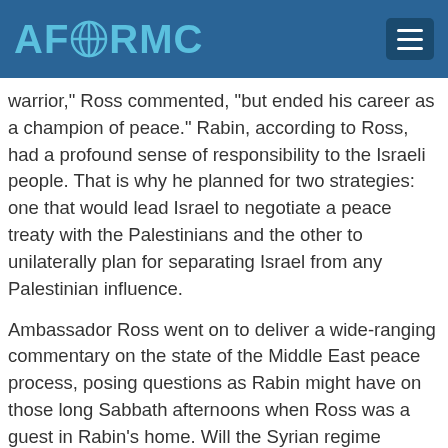AFORMC
warrior," Ross commented, "but ended his career as a champion of peace." Rabin, according to Ross, had a profound sense of responsibility to the Israeli people. That is why he planned for two strategies: one that would lead Israel to negotiate a peace treaty with the Palestinians and the other to unilaterally plan for separating Israel from any Palestinian influence.
Ambassador Ross went on to deliver a wide-ranging commentary on the state of the Middle East peace process, posing questions as Rabin might have on those long Sabbath afternoons when Ross was a guest in Rabin's home. Will the Syrian regime survive? Will Iraq be successful? Is Iran a real threat? Ross focused on the small window of opportunity that existed after Arafat's death, which the Palestinian Authority